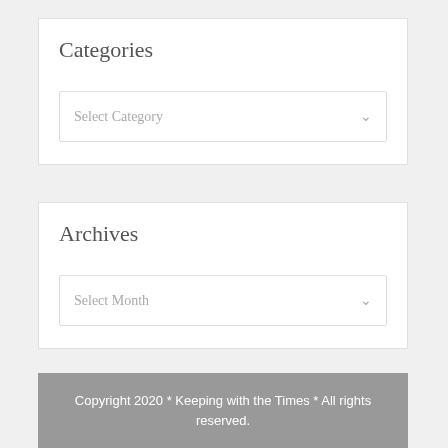Categories
[Figure (screenshot): Dropdown select box with placeholder text 'Select Category' and a chevron arrow on the right]
Archives
[Figure (screenshot): Dropdown select box with placeholder text 'Select Month' and a chevron arrow on the right]
Copyright 2020 * Keeping with the Times * All rights reserved.